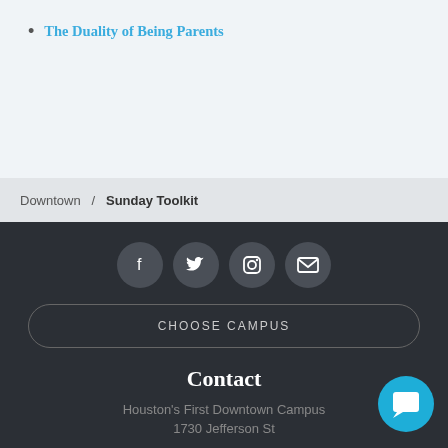The Duality of Being Parents
Downtown / Sunday Toolkit
[Figure (infographic): Social media icon buttons: Facebook, Twitter, Instagram, Email]
CHOOSE CAMPUS
Contact
Houston's First Downtown Campus
1730 Jefferson St